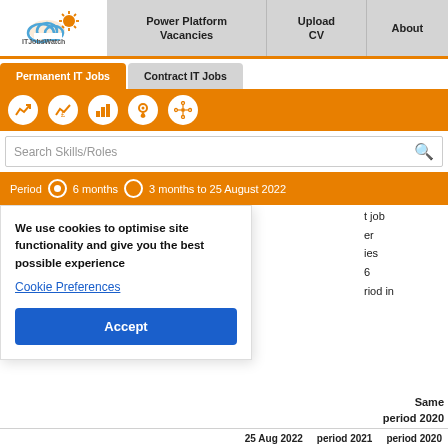[Figure (logo): ITJobsWatch logo with cloud and sun icon]
Power Platform Vacancies
Upload CV
About
Permanent IT Jobs
Contract IT Jobs
Search Skills/Roles
Period  6 months  3 months to 25 August 2022
We use cookies to optimise site functionality and give you the best possible experience
Cookie Preferences
Accept
t job
er
ies
6
riod in
Same
period 2020
25 Aug 2022   period 2021   period 2020